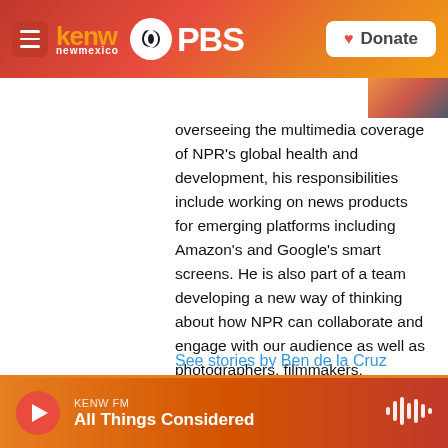[Figure (logo): KENW New Mexico PBS logo with hamburger menu and Donate button in header bar]
overseeing the multimedia coverage of NPR's global health and development, his responsibilities include working on news products for emerging platforms including Amazon's and Google's smart screens. He is also part of a team developing a new way of thinking about how NPR can collaborate and engage with our audience as well as photographers, filmmakers, illustrators, animators, and graphic designers to build new visual storytelling avenues on NPR's website, social media platforms, and through live events.
See stories by Ben de la Cruz
[Figure (infographic): KENW FM audio player bar showing All Things Considered program with play button and waveform icon]